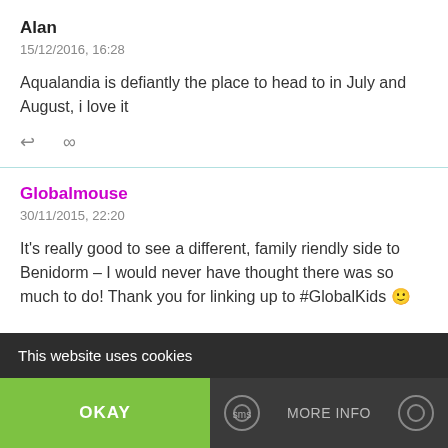Alan
15/12/2016, 16:28
Aqualandia is defiantly the place to head to in July and August, i love it
Globalmouse
30/11/2015, 22:20
It's really good to see a different, family riendly side to Benidorm – I would never have thought there was so much to do! Thank you for linking up to #GlobalKids 🙂
This website uses cookies
OKAY
MORE INFO